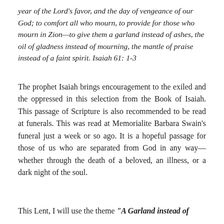year of the Lord's favor, and the day of vengeance of our God; to comfort all who mourn, to provide for those who mourn in Zion—to give them a garland instead of ashes, the oil of gladness instead of mourning, the mantle of praise instead of a faint spirit. Isaiah 61: 1-3
The prophet Isaiah brings encouragement to the exiled and the oppressed in this selection from the Book of Isaiah. This passage of Scripture is also recommended to be read at funerals. This was read at Memorialite Barbara Swain's funeral just a week or so ago. It is a hopeful passage for those of us who are separated from God in any way—whether through the death of a beloved, an illness, or a dark night of the soul.
This Lent, I will use the theme "A Garland instead of